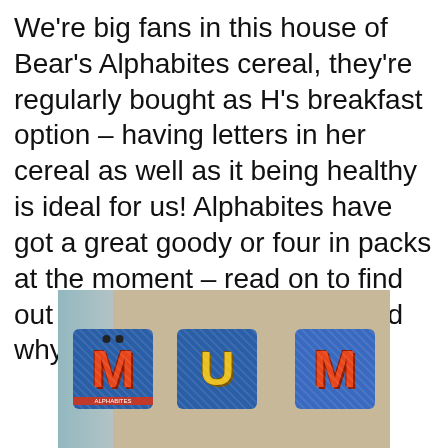We're big fans in this house of Bear's Alphabites cereal, they're regularly bought as H's breakfast option – having letters in her cereal as well as it being healthy is ideal for us! Alphabites have got a great goody or four in packs at the moment – read on to find out about the Monsterbet – and why not try making one too!
[Figure (photo): Photo of two decorative letter badges/patches on a beige fabric background showing letters M, U, M spelling MUM with glitter decorations]